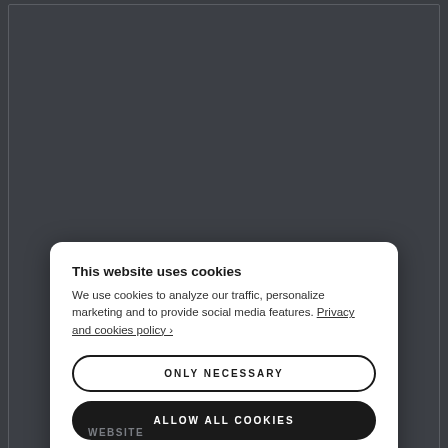[Figure (screenshot): Dark background webpage with a large textarea input field with resize handle visible at bottom right corner]
NAME ↑
This website uses cookies
We use cookies to analyze our traffic, personalize marketing and to provide social media features. Privacy and cookies policy ›
ONLY NECESSARY
ALLOW ALL COOKIES
CONFIGURE SETTINGS ›
WEBSITE